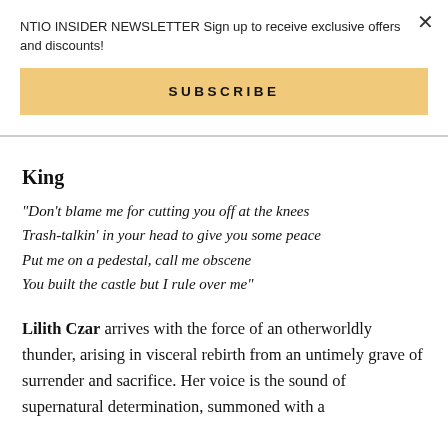NTIO INSIDER NEWSLETTER Sign up to receive exclusive offers and discounts!
×
SUBSCRIBE
King
"Don't blame me for cutting you off at the knees
Trash-talkin' in your head to give you some peace
Put me on a pedestal, call me obscene
You built the castle but I rule over me"
Lilith Czar arrives with the force of an otherworldly thunder, arising in visceral rebirth from an untimely grave of surrender and sacrifice. Her voice is the sound of supernatural determination, summoned with a